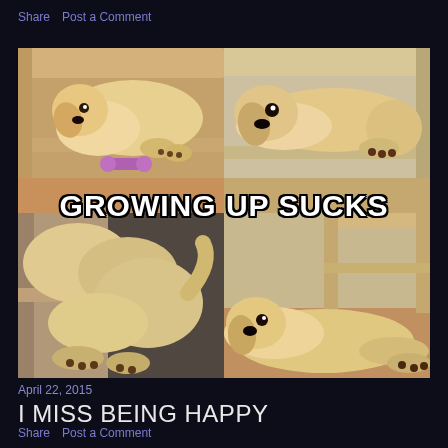Share   Post a Comment
[Figure (photo): Four-panel meme showing a golden retriever dog at different ages trying to fit inside a small furniture shelf. Top-left: puppy easily fits with a toy bone. Top-right: young dog barely fits. Bottom-left: adolescent dog tries to squeeze in. Bottom-right: adult dog is too big and lies on the floor outside shelf. Text overlay reads 'GROWING UP SUCKS'.]
April 22, 2015
I MISS BEING HAPPY
Share   Post a Comment